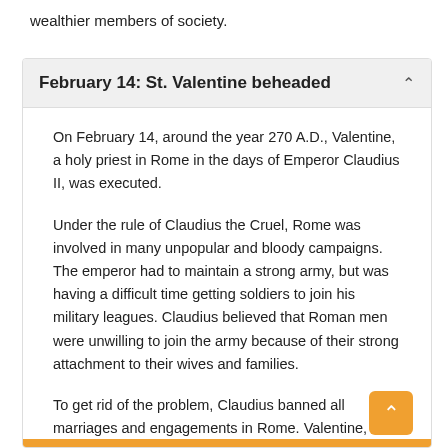wealthier members of society.
February 14: St. Valentine beheaded
On February 14, around the year 270 A.D., Valentine, a holy priest in Rome in the days of Emperor Claudius II, was executed.
Under the rule of Claudius the Cruel, Rome was involved in many unpopular and bloody campaigns. The emperor had to maintain a strong army, but was having a difficult time getting soldiers to join his military leagues. Claudius believed that Roman men were unwilling to join the army because of their strong attachment to their wives and families.
To get rid of the problem, Claudius banned all marriages and engagements in Rome. Valentine, realizing the injustice of the decree, defied Claudius and continued to perform marriages for young lovers in secret.